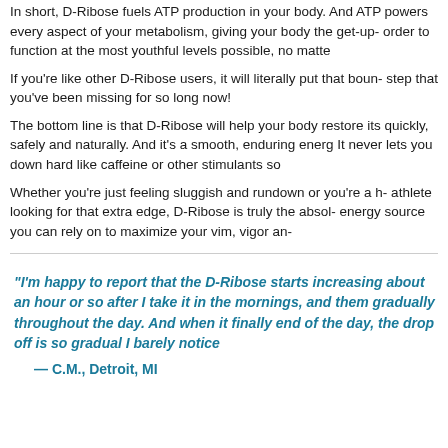In short, D-Ribose fuels ATP production in your body. And ATP powers every aspect of your metabolism, giving your body the get-up- order to function at the most youthful levels possible, no matte
If you're like other D-Ribose users, it will literally put that boun- step that you've been missing for so long now!
The bottom line is that D-Ribose will help your body restore its quickly, safely and naturally. And it's a smooth, enduring energ It never lets you down hard like caffeine or other stimulants so
Whether you're just feeling sluggish and rundown or you're a h- athlete looking for that extra edge, D-Ribose is truly the absol- energy source you can rely on to maximize your vim, vigor an-
"I'm happy to report that the D-Ribose starts increasing about an hour or so after I take it in the mornings, and them gradually throughout the day. And when it finally end of the day, the drop off is so gradual I barely notice
— C.M., Detroit, MI